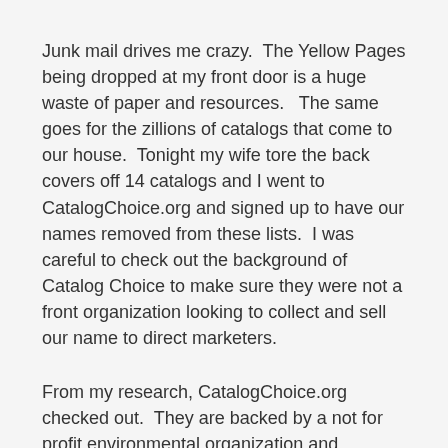Junk mail drives me crazy.  The Yellow Pages being dropped at my front door is a huge waste of paper and resources.   The same goes for the zillions of catalogs that come to our house.  Tonight my wife tore the back covers off 14 catalogs and I went to CatalogChoice.org and signed up to have our names removed from these lists.  I was careful to check out the background of Catalog Choice to make sure they were not a front organization looking to collect and sell our name to direct marketers.
From my research, CatalogChoice.org checked out.  They are backed by a not for profit environmental organization and supported by several reputable foundations.  They are endorsed by the NRDC which is a blue chip environmental advocacy organization.
I found the site VERY easy to use and well designed.  I will check back here in few weeks and let you know how successful I was